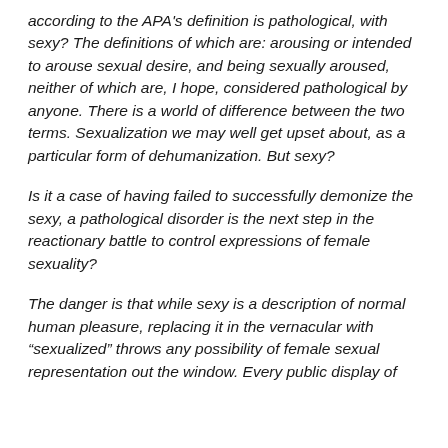according to the APA's definition is pathological, with sexy? The definitions of which are: arousing or intended to arouse sexual desire, and being sexually aroused, neither of which are, I hope, considered pathological by anyone. There is a world of difference between the two terms. Sexualization we may well get upset about, as a particular form of dehumanization. But sexy?
Is it a case of having failed to successfully demonize the sexy, a pathological disorder is the next step in the reactionary battle to control expressions of female sexuality?
The danger is that while sexy is a description of normal human pleasure, replacing it in the vernacular with “sexualized” throws any possibility of female sexual representation out the window. Every public display of